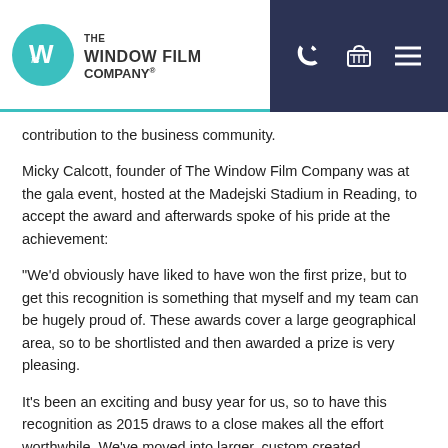[Figure (logo): The Window Film Company logo with teal circle containing stylized W letter mark, and THE WINDOW FILM COMPANY® text to the right]
[Figure (other): Navigation bar with dark navy background showing phone icon, shopping basket icon, and hamburger menu icon]
contribution to the business community.
Micky Calcott, founder of The Window Film Company was at the gala event, hosted at the Madejski Stadium in Reading, to accept the award and afterwards spoke of his pride at the achievement:
“We’d obviously have liked to have won the first prize, but to get this recognition is something that myself and my team can be hugely proud of. These awards cover a large geographical area, so to be shortlisted and then awarded a prize is very pleasing.
It’s been an exciting and busy year for us, so to have this recognition as 2015 draws to a close makes all the effort worthwhile. We’ve moved into larger, custom created premises, invested in new print technology, expanded the size of our team and widened our product offering. We’ve begun to see our products stocked by renowned names such as John Lewis and have even made our TV debut on QVC! We’ve also entered into partnerships with established designers to ensure we offer the most stylish ranges of window film available, as well as our established functional and architectural films.
2015 has also seen our turnover continue to grow, so all in all it’s been an excellent year. We’re looking forward to heading back to the awards in 2016